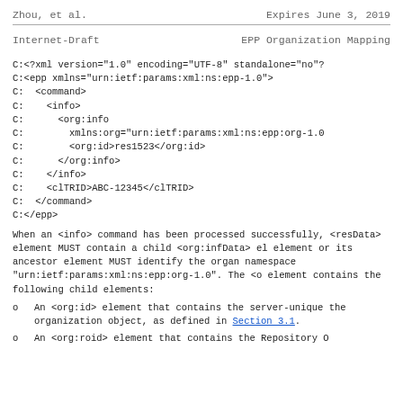Zhou, et al.                    Expires June 3, 2019
Internet-Draft              EPP Organization Mapping
C:<?xml version="1.0" encoding="UTF-8" standalone="no"?
C:<epp xmlns="urn:ietf:params:xml:ns:epp-1.0">
C:  <command>
C:    <info>
C:      <org:info
C:        xmlns:org="urn:ietf:params:xml:ns:epp:org-1.0
C:        <org:id>res1523</org:id>
C:      </org:info>
C:    </info>
C:    <clTRID>ABC-12345</clTRID>
C:  </command>
C:</epp>
When an <info> command has been processed successfully, <resData> element MUST contain a child <org:infData> element or its ancestor element MUST identify the organization namespace "urn:ietf:params:xml:ns:epp:org-1.0". The <org:infData> element contains the following child elements:
An <org:id> element that contains the server-unique identifier of the organization object, as defined in Section 3.1.
An <org:roid> element that contains the Repository Object Identifier